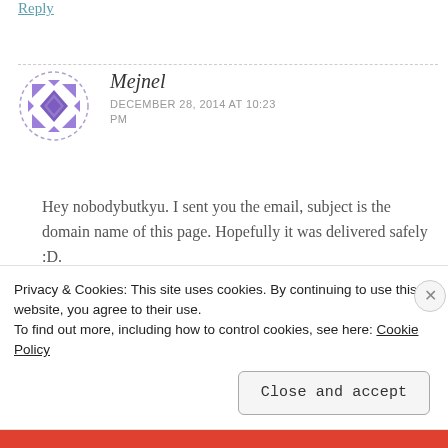Reply
Mejnel
DECEMBER 28, 2014 AT 10:23 PM
Hey nobodybutkyu. I sent you the email, subject is the domain name of this page. Hopefully it was delivered safely :D.
Privacy & Cookies: This site uses cookies. By continuing to use this website, you agree to their use.
To find out more, including how to control cookies, see here: Cookie Policy
Close and accept